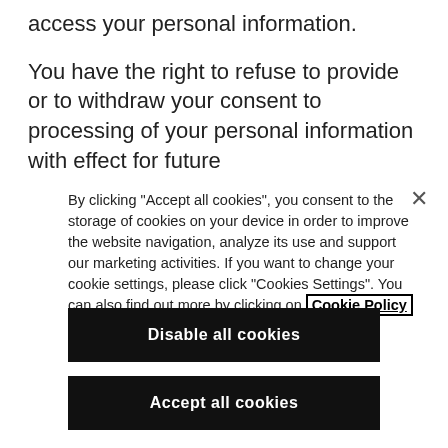access your personal information.
You have the right to refuse to provide or to withdraw your consent to processing of your personal information with effect for future
By clicking "Accept all cookies", you consent to the storage of cookies on your device in order to improve the website navigation, analyze its use and support our marketing activities. If you want to change your cookie settings, please click "Cookies Settings". You can also find out more by clicking on Cookie Policy
Disable all cookies
Accept all cookies